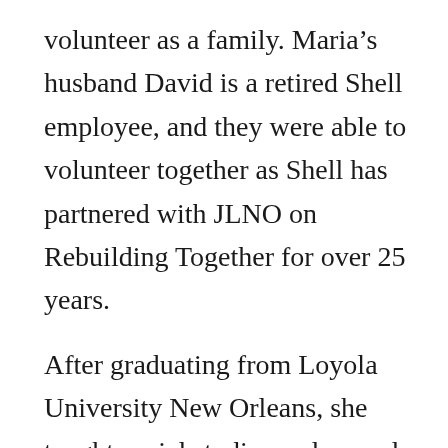volunteer as a family. Maria's husband David is a retired Shell employee, and they were able to volunteer together as Shell has partnered with JLNO on Rebuilding Together for over 25 years.
After graduating from Loyola University New Orleans, she taught social studies and served as the Department Chair at the Academy of Our Lady in Guam, where she developed an affinity for education, curriculum development, and lumpia, a savory fried spring roll. She extended her career in education as a Senior Admissions Counselor for Loyola University New Orleans. Outside of the Junior